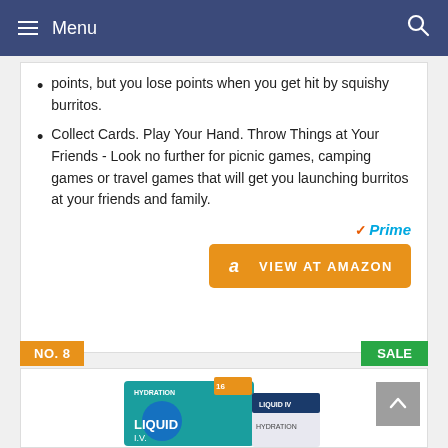Menu
points, but you lose points when you get hit by squishy burritos.
Collect Cards. Play Your Hand. Throw Things at Your Friends - Look no further for picnic games, camping games or travel games that will get you launching burritos at your friends and family.
[Figure (logo): Amazon Prime badge and VIEW AT AMAZON orange button]
NO. 8
SALE
[Figure (photo): Product photo showing LIQUID IV hydration and another product package]